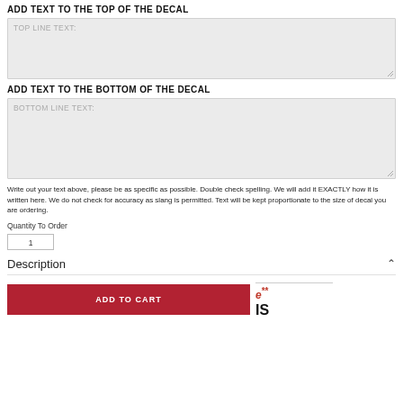ADD TEXT TO THE TOP OF THE DECAL
TOP LINE TEXT:
ADD TEXT TO THE BOTTOM OF THE DECAL
BOTTOM LINE TEXT:
Write out your text above, please be as specific as possible. Double check spelling. We will add it EXACTLY how it is written here. We do not check for accuracy as slang is permitted. Text will be kept proportionate to the size of decal you are ordering.
Quantity To Order
1
Description
ADD TO CART
e**
IS